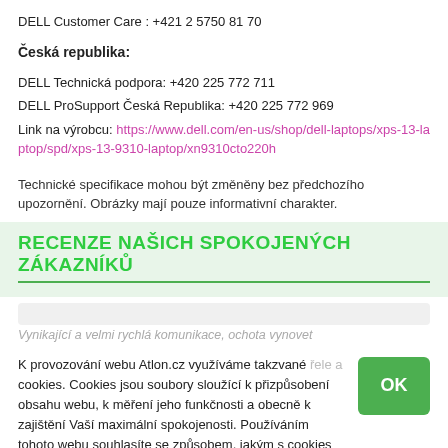DELL Customer Care : +421 2 5750 81 70
Česká republika:
DELL Technická podpora: +420 225 772 711
DELL ProSupport Česká Republika: +420 225 772 969
Link na výrobcu: https://www.dell.com/en-us/shop/dell-laptops/xps-13-laptop/spd/xps-13-9310-laptop/xn9310cto220h
Technické specifikace mohou být změněny bez předchozího upozornění. Obrázky mají pouze informativní charakter.
RECENZE NAŠICH SPOKOJENÝCH ZÁKAZNÍKŮ
Vynikající a velmi rychlá komunikace, ochota vynovet [blurred]
K provozování webu Atlon.cz využíváme takzvané cookies. Cookies jsou soubory sloužící k přizpůsobení obsahu webu, k měření jeho funkčnosti a obecně k zajištění Vaší maximální spokojenosti. Používáním tohoto webu souhlasíte se způsobem, jakým s cookies nakládáme.